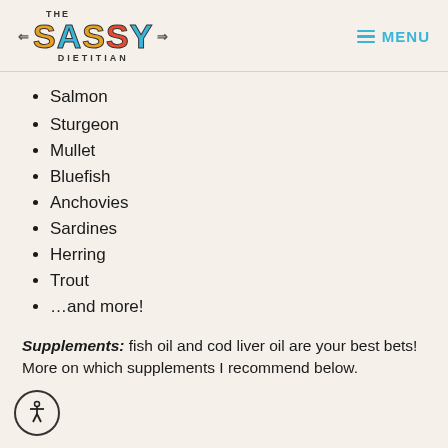THE SASSY DIETITIAN — MENU
Salmon
Sturgeon
Mullet
Bluefish
Anchovies
Sardines
Herring
Trout
…and more!
Supplements: fish oil and cod liver oil are your best bets! More on which supplements I recommend below.